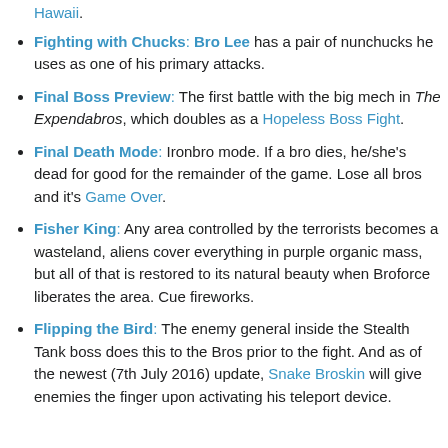Fighting with Chucks: Bro Lee has a pair of nunchucks he uses as one of his primary attacks.
Final Boss Preview: The first battle with the big mech in The Expendabros, which doubles as a Hopeless Boss Fight.
Final Death Mode: Ironbro mode. If a bro dies, he/she's dead for good for the remainder of the game. Lose all bros and it's Game Over.
Fisher King: Any area controlled by the terrorists becomes a wasteland, aliens cover everything in purple organic mass, but all of that is restored to its natural beauty when Broforce liberates the area. Cue fireworks.
Flipping the Bird: The enemy general inside the Stealth Tank boss does this to the Bros prior to the fight. And as of the newest (7th July 2016) update, Snake Broskin will give enemies the finger upon activating his teleport device.